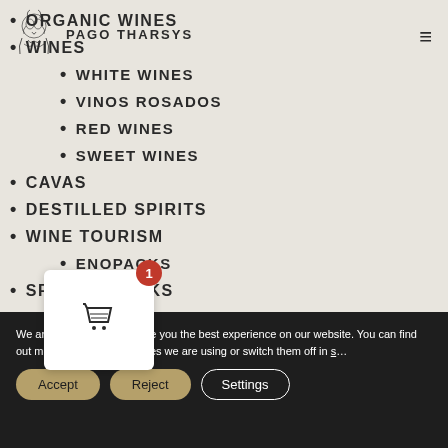PAGO THARSYS
ORGANIC WINES
WINES
WHITE WINES
VINOS ROSADOS
RED WINES
SWEET WINES
CAVAS
DESTILLED SPIRITS
WINE TOURISM
ENOPACKS
SPECIAL PACKS
We are using cookies to give you the best experience on our website. You can find out more about which cookies we are using or switch them off in settings.